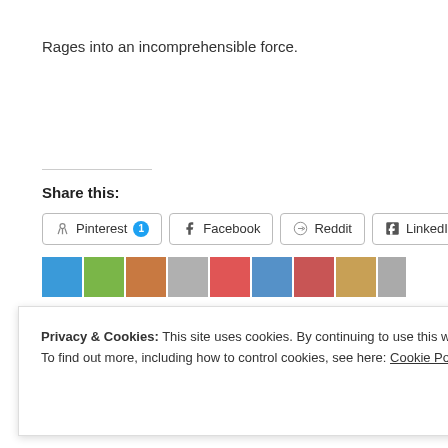Rages into an incomprehensible force.
Share this:
[Figure (screenshot): Row of social sharing buttons: Pinterest 1, Facebook, Reddit, LinkedIn, Tumblr (partial). Below is a row of user thumbnail images.]
Privacy & Cookies: This site uses cookies. By continuing to use this website, you agree to their use.
To find out more, including how to control cookies, see here: Cookie Policy
Close and accept